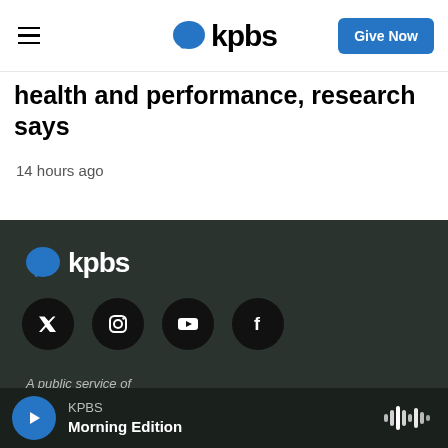KPBS — Give Now
health and performance, research says
14 hours ago
[Figure (logo): KPBS logo in footer with blue speech bubble icon]
[Figure (infographic): Social media icons row: Twitter, Instagram, YouTube, Facebook — dark circles on dark background]
A public service of
KPBS Morning Edition — audio player bar with play button and waveform icon